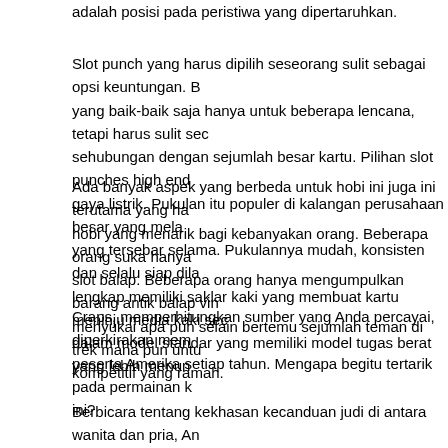adalah posisi pada peristiwa yang dipertaruhkan.
Slot punch yang harus dipilih seseorang sulit sebagai opsi keuntungan. B yang baik-baik saja hanya untuk beberapa lencana, tetapi harus sulit sec sehubungan dengan sejumlah besar kartu. Pilihan slot punches high end gaya listrik. Pukulan itu populer di kalangan perusahaan besar yang mela yang tersebar selama. Pukulannya mudah, konsisten dan selalu siap dila lengkap memiliki saklar kaki yang membuat kartu meninju media kaki sec dalam model standar yang memiliki model tugas berat yang lebih menun
Ada banyak aspek yang berbeda untuk hobi ini juga ini terutama yang ha hobi yang menarik bagi kebanyakan orang. Beberapa orang suka hanya slot balap. Beberapa orang hanya mengumpulkan barang antik balap vin menyukai apa pun selain bertemu sejumlah teman di trek mana pun untu kompetitif yang ramah.
Craps, memperhitungkan sumber yang Anda percayai, diperkirakan mem peserta Amerika setiap tahun. Mengapa begitu tertarik pada permainan k ini?
Berbicara tentang kekhasan kecanduan judi di antara wanita dan pria, An bahwa meskipun pria lebih cenderung melakukannya dan di usia yang le